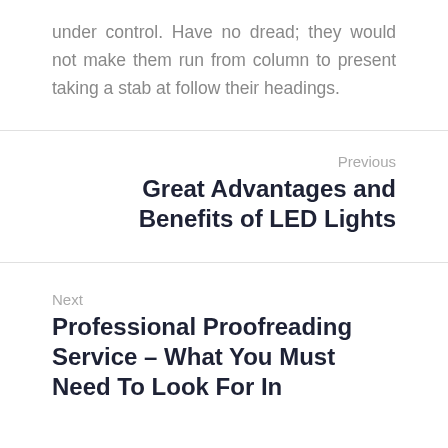under control. Have no dread; they would not make them run from column to present taking a stab at follow their headings.
Previous
Great Advantages and Benefits of LED Lights
Next
Professional Proofreading Service – What You Must Need To Look For In